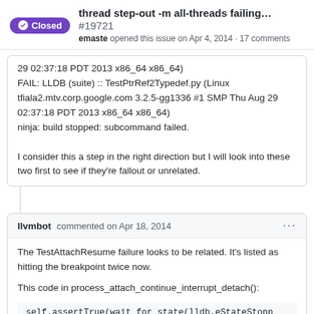thread step-out -m all-threads failing... #19721
emaste opened this issue on Apr 4, 2014 · 17 comments
29 02:37:18 PDT 2013 x86_64 x86_64)
FAIL: LLDB (suite) :: TestPtrRef2Typedef.py (Linux tfiala2.mtv.corp.google.com 3.2.5-gg1336 #1 SMP Thu Aug 29 02:37:18 PDT 2013 x86_64 x86_64)
ninja: build stopped: subcommand failed.

I consider this a step in the right direction but I will look into these two first to see if they're fallout or unrelated.
llvmbot commented on Apr 18, 2014
The TestAttachResume failure looks to be related. It's listed as hitting the breakpoint twice now.

This code in process_attach_continue_interrupt_detach():
self.assertTrue(wait_for_state(lldb.eStateStopp